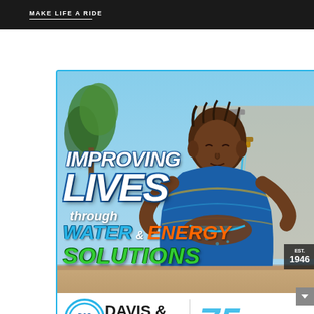[Figure (illustration): Dark banner with text 'MAKE LIFE A RIDE' and a white underline below]
[Figure (photo): Advertisement for Davis & Shirtliff showing a child drinking from a water faucet outdoors with overlaid text: IMPROVING LIVES through WATER & ENERGY SOLUTIONS. EST. 1946. Company logo at bottom.]